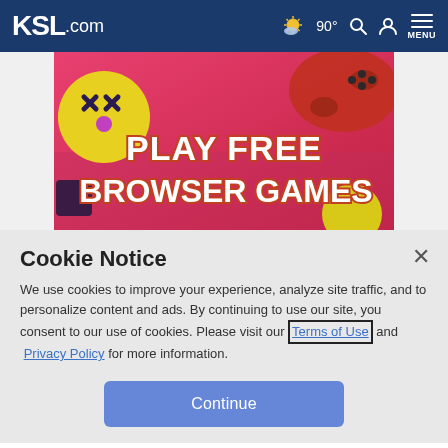KSL.com — 90° weather, search, account, menu
[Figure (illustration): Colorful gaming advertisement banner with text 'PLAY FREE BROWSER GAMES' on a pink/red background with a yellow emoji ball and red game controller]
Cookie Notice
We use cookies to improve your experience, analyze site traffic, and to personalize content and ads. By continuing to use our site, you consent to our use of cookies. Please visit our Terms of Use and Privacy Policy for more information.
Continue